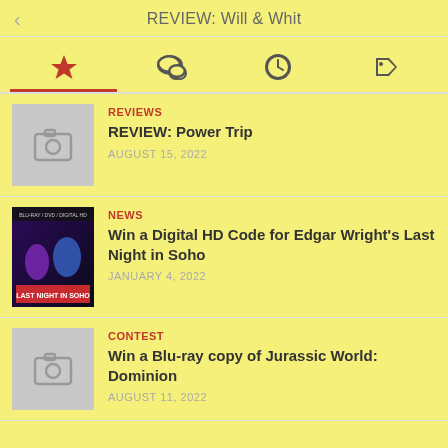REVIEW: Will & Whit
[Figure (screenshot): Tab navigation row with four icons: star (active, red), speech bubble, clock, and tag]
REVIEWS
REVIEW: Power Trip
AUGUST 15, 2022
NEWS
Win a Digital HD Code for Edgar Wright's Last Night in Soho
JANUARY 4, 2022
CONTEST
Win a Blu-ray copy of Jurassic World: Dominion
AUGUST 11, 2022